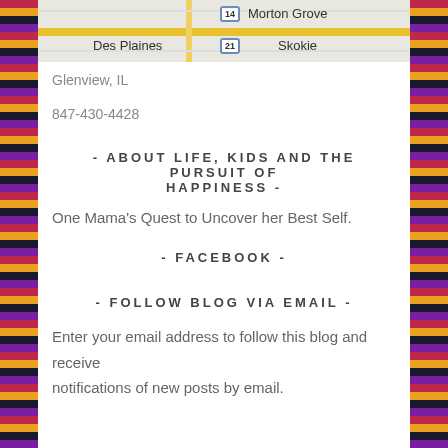[Figure (map): Street map snippet showing Des Plaines, Morton Grove, and Skokie area with route markers 14 and 21]
Glenview, IL
847-430-4428
- ABOUT LIFE, KIDS AND THE PURSUIT OF HAPPINESS -
One Mama's Quest to Uncover her Best Self.
- FACEBOOK -
- FOLLOW BLOG VIA EMAIL -
Enter your email address to follow this blog and receive notifications of new posts by email.